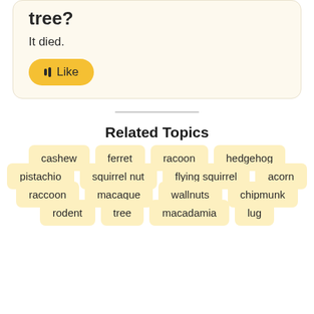tree?
It died.
Like
Related Topics
cashew
ferret
racoon
hedgehog
pistachio
squirrel nut
flying squirrel
acorn
raccoon
macaque
wallnuts
chipmunk
rodent
tree
macadamia
lug